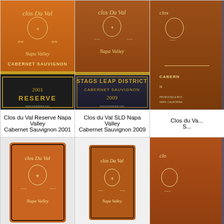[Figure (photo): Wine bottle label for Clos du Val Reserve Napa Valley Cabernet Sauvignon 2001, showing orange-brown label top and dark band with gold text '2001 RESERVE']
[Figure (photo): Wine bottle label for Clos du Val SLD Napa Valley Cabernet Sauvignon 2009, showing brown label with 'Stags Leap District Cabernet Sauvignon 2009']
[Figure (photo): Wine bottle label partially visible, showing Clos du Val Cabernet Sauvignon]
Clos du Val Reserve Napa Valley Cabernet Sauvignon 2001
Clos du Val SLD Napa Valley Cabernet Sauvignon 2009
Clos du Va... S...
[Figure (photo): Clos du Val Napa Valley wine bottle label bottom row left, showing orange label with Clos du Val logo and Napa Valley text]
[Figure (photo): Clos du Val Napa Valley wine bottle label bottom row center, showing smaller orange-brown label]
[Figure (photo): Clos du Val wine bottle label bottom row right, partially visible]